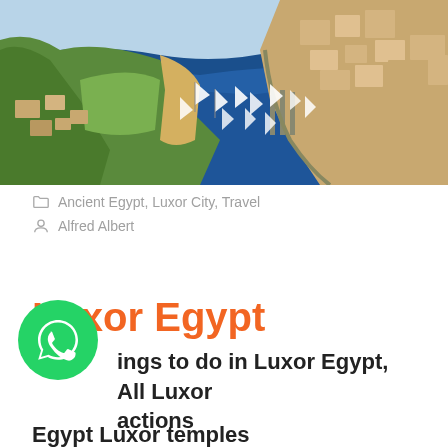[Figure (photo): Aerial photograph of the Nile River at Luxor, Egypt, showing the wide blue river with small sailboats, green agricultural land on the west bank, and the city of Luxor with buildings and docks on the east bank.]
Ancient Egypt, Luxor City, Travel
Alfred Albert
Luxor Egypt
ings to do in Luxor Egypt, All Luxor actions
Egypt Luxor temples